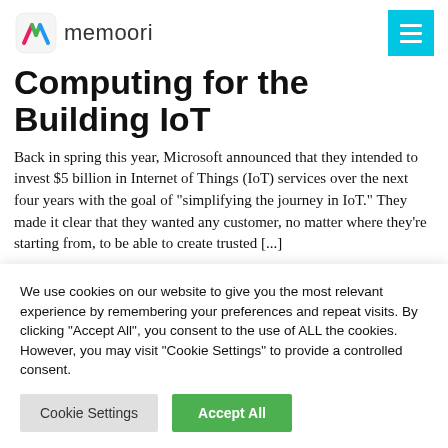memoori
Computing for the Building IoT
Back in spring this year, Microsoft announced that they intended to invest $5 billion in Internet of Things (IoT) services over the next four years with the goal of "simplifying the journey in IoT." They made it clear that they wanted any customer, no matter where they're starting from, to be able to create trusted [...]
We use cookies on our website to give you the most relevant experience by remembering your preferences and repeat visits. By clicking "Accept All", you consent to the use of ALL the cookies. However, you may visit "Cookie Settings" to provide a controlled consent.